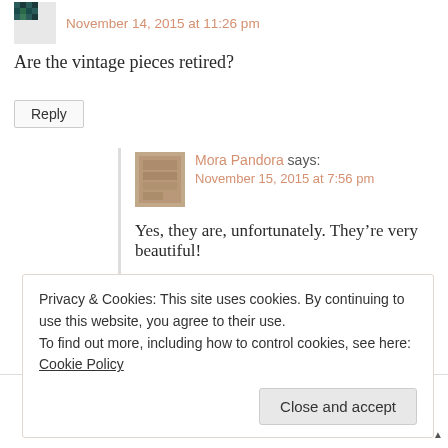November 14, 2015 at 11:26 pm
Are the vintage pieces retired?
Reply
Mora Pandora says: November 15, 2015 at 7:56 pm
Yes, they are, unfortunately. They’re very beautiful!
Reply
Privacy & Cookies: This site uses cookies. By continuing to use this website, you agree to their use.
To find out more, including how to control cookies, see here: Cookie Policy
Close and accept